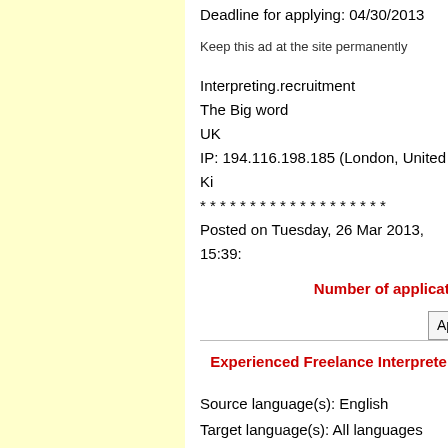Deadline for applying: 04/30/2013
Keep this ad at the site permanently
Interpreting.recruitment
The Big word
UK
IP: 194.116.198.185 (London, United Ki...
* * * * * * * * * * * * * * * * * * *
Posted on Tuesday, 26 Mar 2013, 15:39:...
Number of applicatio...
Ap...
Experienced Freelance Interpreter...
Source language(s): English
Target language(s): All languages
Details of the project: Do you want an Ex...
Looking for a long-term, flexible role that...
If you're customer focused and dedicated...
Here are some of the benefits of working...